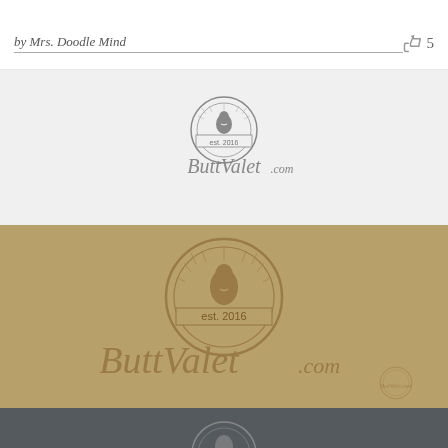by Mrs. Doodle Mind
5
[Figure (logo): ButtValet.com logo on white/light grey background - circular stamp badge with illustrated man bust, 'est. 2016' text, and cursive ButtValet.com script]
[Figure (logo): ButtValet.com logo on kraft/cardboard brown background - large version of same circular stamp badge with man bust and cursive ButtValet.com script, plus small watermark logo in bottom right]
[Figure (logo): ButtValet.com logo on dark charcoal background - partial view of circular stamp logo]